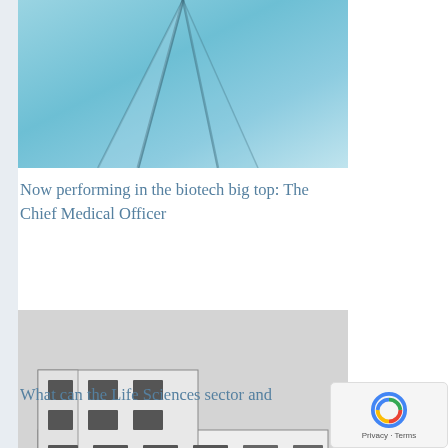[Figure (photo): Looking up at a glass building with teal/cyan sky and diagonal structural lines]
Now performing in the biotech big top: The Chief Medical Officer
[Figure (photo): Black and white photograph of a multi-story modernist building exterior with rows of windows]
What can the Life Sciences sector and